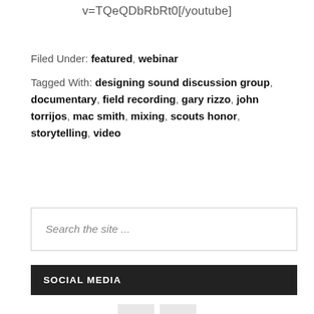v=TQeQDbRbRt0[/youtube]
Filed Under: featured, webinar
Tagged With: designing sound discussion group, documentary, field recording, gary rizzo, john torrijos, mac smith, mixing, scouts honor, storytelling, video
Search the site ...
SOCIAL MEDIA
[Figure (other): Twitter and YouTube social media icon buttons]